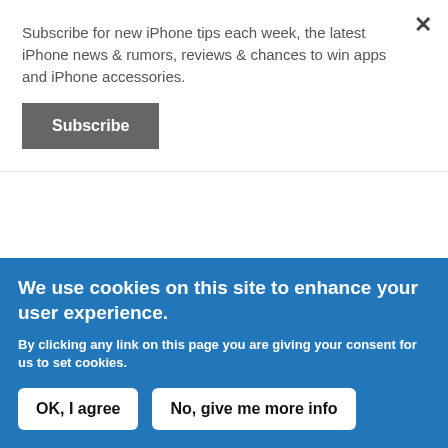Subscribe for new iPhone tips each week, the latest iPhone news & rumors, reviews & chances to win apps and iPhone accessories.
Subscribe
find it necessary to have their software run in the background and waste additional resources.
We use cookies on this site to enhance your user experience.
By clicking any link on this page you are giving your consent for us to set cookies.
OK, I agree
No, give me more info